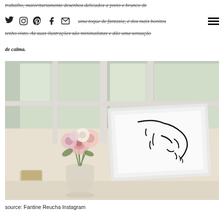trabalho, maioritariamente desenhos delicados a preto e branco de
social nav icons: Twitter, Instagram, Pinterest, Facebook, Email, hamburger menu
mas uma toque de fantasia, é dos mais bonitos que tenho visto. As suas ilustrações são minimalistas e dão uma sensação de calma.
[Figure (photo): A framed minimalist line-art illustration of a face, placed on a windowsill beside a glass vase with pink and white flowers (dahlias/chrysanthemums). Natural light from windows in the background.]
source: Fantine Reucha Instagram